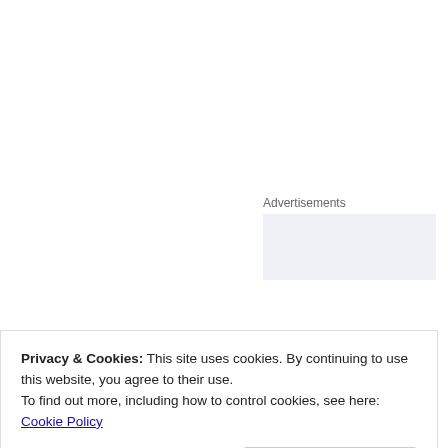Advertisements
[Figure (other): Advertisement placeholder box with light blue-grey background]
I didn't find out about the affair until months after deciding to get divorced, convinced that she was no longer interested in trying to fix things, whatever her reasons might be, and finally clear on the fact that she didn't respect me, would never compromise, and therefor didn't really love me. I didn't develop my anger about the betrayal her behavior represented
Privacy & Cookies: This site uses cookies. By continuing to use this website, you agree to their use.
To find out more, including how to control cookies, see here: Cookie Policy
Close and accept
REPORT THIS AD